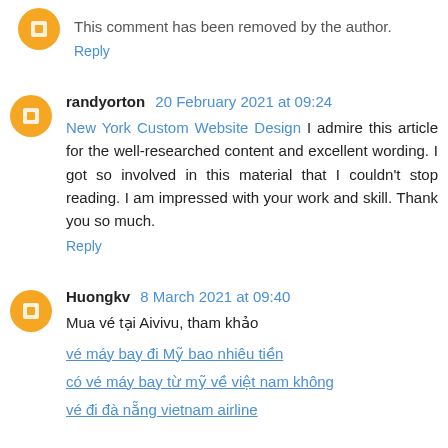This comment has been removed by the author.
Reply
randyorton 20 February 2021 at 09:24
New York Custom Website Design I admire this article for the well-researched content and excellent wording. I got so involved in this material that I couldn't stop reading. I am impressed with your work and skill. Thank you so much.
Reply
Huongkv 8 March 2021 at 09:40
Mua vé tại Aivivu, tham khảo
vé máy bay đi Mỹ bao nhiêu tiền
có vé máy bay từ mỹ về việt nam không
vé đi đà nẵng vietnam airline